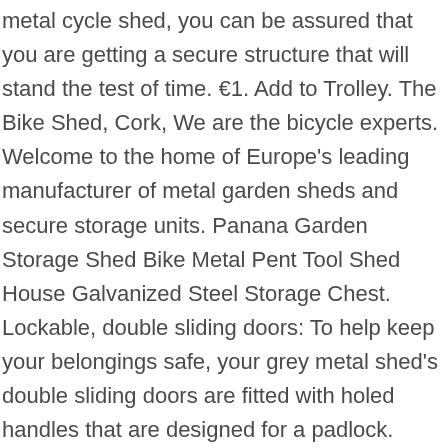metal cycle shed, you can be assured that you are getting a secure structure that will stand the test of time. €1. Add to Trolley. The Bike Shed, Cork, We are the bicycle experts. Welcome to the home of Europe's leading manufacturer of metal garden sheds and secure storage units. Panana Garden Storage Shed Bike Metal Pent Tool Shed House Galvanized Steel Storage Chest. Lockable, double sliding doors: To help keep your belongings safe, your grey metal shed's double sliding doors are fitted with holed handles that are designed for a padlock. £117.97 £ 117. €1,500.00 . In various colours and sizes, small or large, there's everything for storing anything from garden shears to bikes. metal sheds. This 8ft x 8ft Apollo metal shed is our flat-pack steel shed option. C & S Sheds. Abri de jardin Keter Darwin 184x126x205 cm 384,00 € 379,00